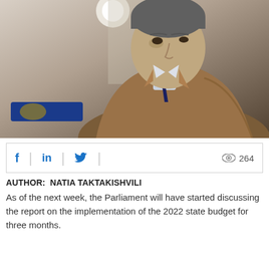[Figure (photo): A middle-aged man in a brown suit jacket and dark blue tie, photographed indoors in a corridor-like setting with a blurred background.]
f  |  in  |  [twitter bird]  |  264 views
AUTHOR:  NATIA TAKTAKISHVILI
As of the next week, the Parliament will have started discussing the report on the implementation of the 2022 state budget for three months.